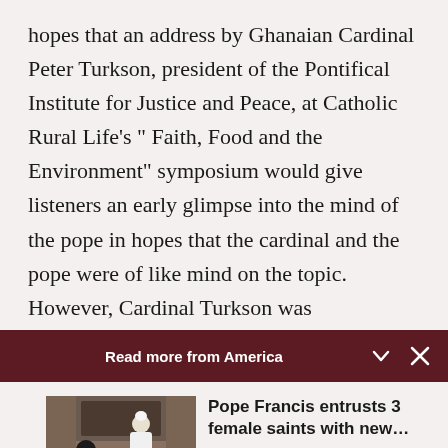hopes that an address by Ghanaian Cardinal Peter Turkson, president of the Pontifical Institute for Justice and Peace, at Catholic Rural Life's " Faith, Food and the Environment" symposium would give listeners an early glimpse into the mind of the pope in hopes that the cardinal and the pope were of like mind on the topic. However, Cardinal Turkson was
Read more from America
[Figure (photo): Photo of Pope Francis meeting with a group of people in a room]
Pope Francis entrusts 3 female saints with new... Cindy Wooden - Catholic News Service